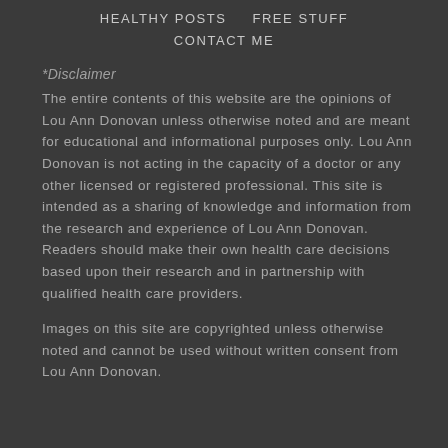HEALTHY POSTS     FREE STUFF
CONTACT ME
*Disclaimer
The entire contents of this website are the opinions of Lou Ann Donovan unless otherwise noted and are meant for educational and informational purposes only. Lou Ann Donovan is not acting in the capacity of a doctor or any other licensed or registered professional. This site is intended as a sharing of knowledge and information from the research and experience of Lou Ann Donovan. Readers should make their own health care decisions based upon their research and in partnership with qualified health care providers.
Images on this site are copyrighted unless otherwise noted and cannot be used without written consent from Lou Ann Donovan.